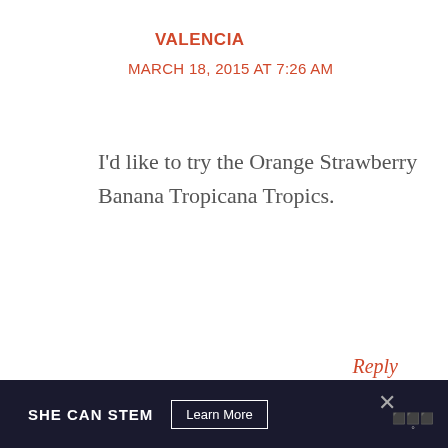VALENCIA
MARCH 18, 2015 AT 7:26 AM
I'd like to try the Orange Strawberry Banana Tropicana Tropics.
Reply
STEVE CAPELL
[Figure (screenshot): SHE CAN STEM advertisement banner with Learn More button and close X icon]
SHE CAN STEM  Learn More